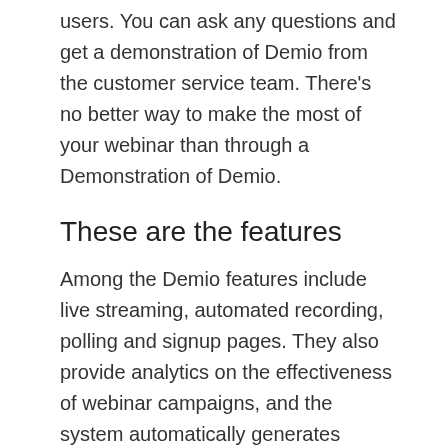users. You can ask any questions and get a demonstration of Demio from the customer service team. There’s no better way to make the most of your webinar than through a Demonstration of Demio.
These are the features
Among the Demio features include live streaming, automated recording, polling and signup pages. They also provide analytics on the effectiveness of webinar campaigns, and the system automatically generates replay pages. Demio integrates with other CRM software and marketing automation software, although it doesn’t offer a full suite of tools. Its customer support team keeps in touch with users and provides timely updates. You can customize